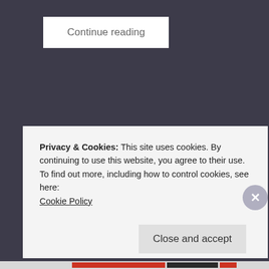Continue reading
Christine L Selby
Devotional, Real life, Thanksgiving
Leave a comment   October 30, 2019
2 Minutes
Privacy & Cookies: This site uses cookies. By continuing to use this website, you agree to their use.
To find out more, including how to control cookies, see here:
Cookie Policy
Close and accept